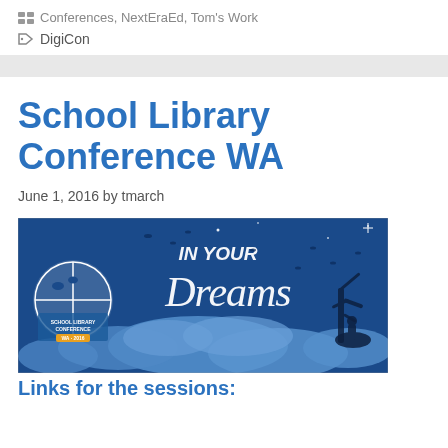Conferences, NextEraEd, Tom's Work
DigiCon
School Library Conference WA
June 1, 2016 by tmarch
[Figure (illustration): School Library Conference WA banner image with text 'IN YOUR Dreams' on a dark blue night sky background with clouds and a silhouette of a child on a tree. Includes School Library Conference WA 2016 logo.]
Links for the sessions: